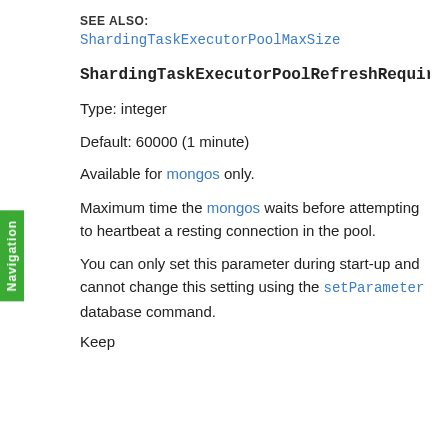SEE ALSO:
ShardingTaskExecutorPoolMaxSize
ShardingTaskExecutorPoolRefreshRequireme
Type: integer
Default: 60000 (1 minute)
Available for mongos only.
Maximum time the mongos waits before attempting to heartbeat a resting connection in the pool.
You can only set this parameter during start-up and cannot change this setting using the setParameter database command.
Keep